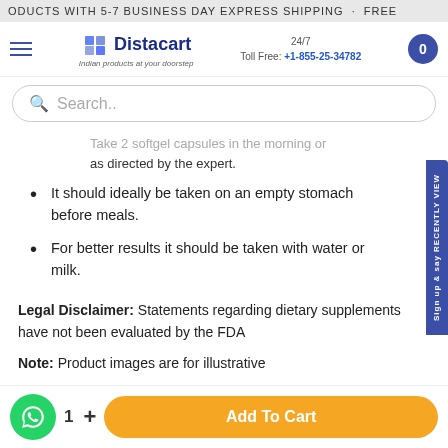ODUCTS WITH 5-7 BUSINESS DAY EXPRESS SHIPPING . FREE
[Figure (logo): Distacart logo with tagline 'Indian products at your doorstep']
24/7 Toll Free: +1-855-25-34782
Search..
Take 2 softgel capsules in the morning or as directed by the expert.
It should ideally be taken on an empty stomach before meals.
For better results it should be taken with water or milk.
Legal Disclaimer: Statements regarding dietary supplements have not been evaluated by the FDA
Note: Product images are for illustrative
Add To Cart